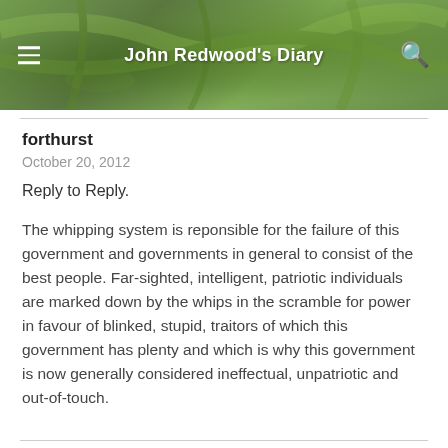John Redwood's Diary
forthurst
October 20, 2012
Reply to Reply.
The whipping system is reponsible for the failure of this government and governments in general to consist of the best people. Far-sighted, intelligent, patriotic individuals are marked down by the whips in the scramble for power in favour of blinked, stupid, traitors of which this government has plenty and which is why this government is now generally considered ineffectual, unpatriotic and out-of-touch.